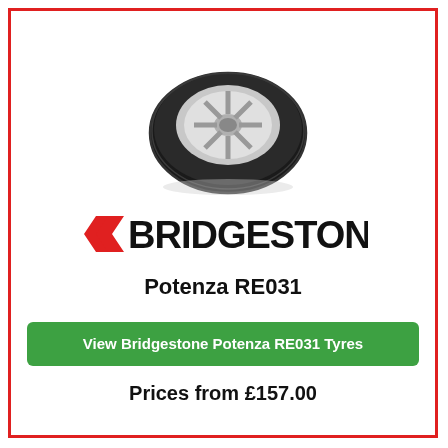[Figure (photo): A Bridgestone Potenza RE031 tyre mounted on a silver alloy wheel, viewed at a slight angle]
[Figure (logo): Bridgestone logo with red chevron/arrow graphic and bold black text BRIDGESTONE]
Potenza RE031
View Bridgestone Potenza RE031 Tyres
Prices from £157.00